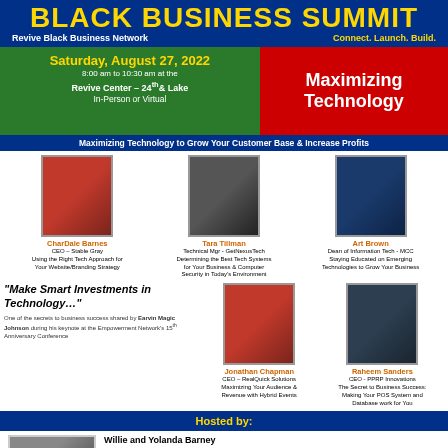BLACK BUSINESS SUMMIT
Revive Black Business Network    Connect. Launch. Build.
Saturday, August 27, 2022
8:00 am to 10:30 am at the
Revive Center – 24th & Lake
In-Person or Virtual
Maximizing Technology
Maximizing Technology to Grow Your Customer Base & Increase Profits
[Figure (photo): CharDale Barnes headshot]
CharDale Barnes
CEO – Stable Gray
Using the Right Tech Approach for Your Website/Branding Strategy
[Figure (photo): Tara Tillman headshot]
Tara Tillman
Technical Mgr - GetNexusTech
Determining the Best Tech Systems for Your Business & Computer Security in Today's Environment
[Figure (photo): Art Brown headshot]
Art Brown
Dean of Information Tech - MCC
Staying Educated on Emerging Technologies to Grow Your Business
"Make Smart Investments in Technology…"
One of the secrets to business success shared by Earvin Magic Johnson during his keynote at the Empowerment Network's 15th Anniversary Conference
[Figure (photo): Jonathan Chapman headshot]
Jonathan Chapman
CEO – RealQuick Solutions
Maximizing Your Audience & Revenue with Hybrid Events
[Figure (photo): Raheem Sanders headshot]
Raheem Sanders
CEO - PPRP Innovations
The Secret to Business Success: Making Your POS System and Database work for You
Hosted by:
[Figure (photo): Willie and Yolanda Barney headshots]
Willie and Yolanda Barney
Black Business Challenge & Exchange – 20 Years!
SNB Enterprises, LLC
Revival Omaha Magazine
Revive Black Business Network
Revive Center Omaha
Carver Legacy Center